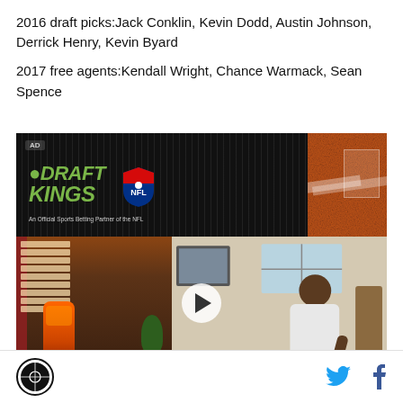2016 draft picks:Jack Conklin, Kevin Dodd, Austin Johnson, Derrick Henry, Kevin Byard
2017 free agents:Kendall Wright, Chance Warmack, Sean Spence
[Figure (photo): DraftKings NFL advertisement with video thumbnail showing a man in a retro diner setting with a jukebox and plant. Play button visible in center.]
Site logo icon | Twitter share icon | Facebook share icon